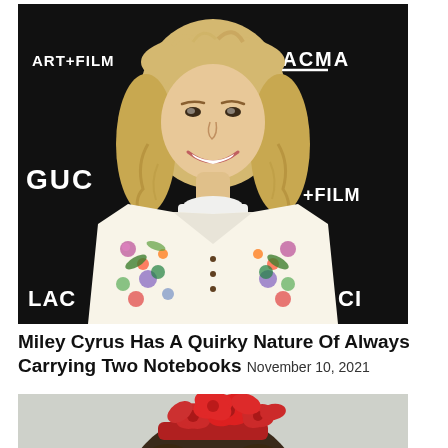[Figure (photo): Miley Cyrus at LACMA Art+Film event, wearing a floral Gucci blazer, smiling, against a dark step-and-repeat backdrop with LACMA, ART+FILM, GUCCI logos]
Miley Cyrus Has A Quirky Nature Of Always Carrying Two Notebooks November 10, 2021
[Figure (photo): Woman with curly hair wearing a red decorative headpiece/fascinator, holding a pink item, photographed outdoors]